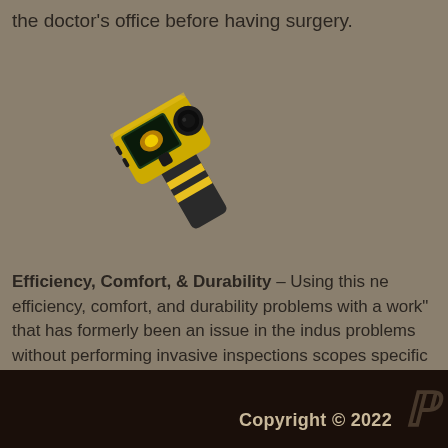the doctor's office before having surgery.
[Figure (photo): A yellow and black handheld thermal imaging camera pointed downward at an angle]
Efficiency, Comfort, & Durability – Using this new technology allows us to find efficiency, comfort, and durability problems with a accuracy that eliminates the "guess work" that has formerly been an issue in the industry. We can now spot problems without performing invasive inspections and can provide custom scopes specific to budget restraints.
Copyright © 2022